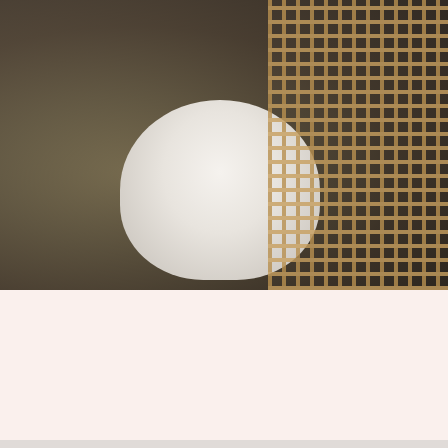[Figure (photo): A pregnant woman in a white ribbed top and black skirt sitting in a wicker chair, holding her belly with both hands. The photo is cropped to show the torso area.]
This website uses cookies to give you the best experience. Learn more
I do not want
Okay